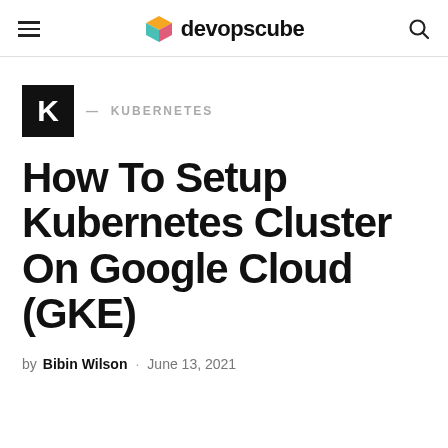devopscube
KUBERNETES
How To Setup Kubernetes Cluster On Google Cloud (GKE)
by Bibin Wilson · June 13, 2021